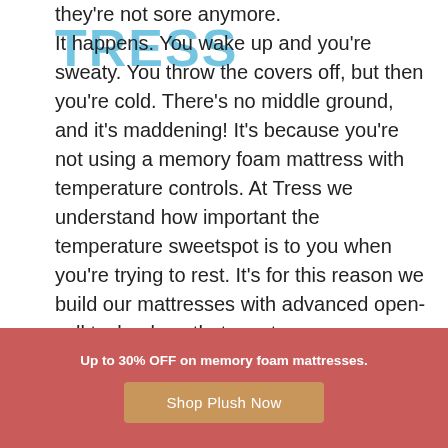[Figure (logo): Tress brand logo in light blue text]
they're not sore anymore. It happens. You wake up and you're sweaty. You throw the covers off, but then you're cold. There's no middle ground, and it's maddening! It's because you're not using a memory foam mattress with temperature controls. At Tress we understand how important the temperature sweetspot is to you when you're trying to rest. It's for this reason we build our mattresses with advanced open-cell technology that creates a more-breathable mattress. This means you will get a more cool and more
Up to 30% OFF on memory foam mattresses.
Shop Plush Now